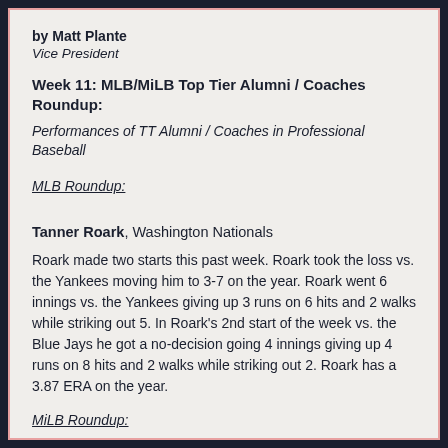by Matt Plante
Vice President
Week 11: MLB/MiLB Top Tier Alumni / Coaches Roundup:
Performances of TT Alumni / Coaches in Professional Baseball
MLB Roundup:
Tanner Roark, Washington Nationals
Roark made two starts this past week. Roark took the loss vs. the Yankees moving him to 3-7 on the year. Roark went 6 innings vs. the Yankees giving up 3 runs on 6 hits and 2 walks while striking out 5. In Roark's 2nd start of the week vs. the Blue Jays he got a no-decision going 4 innings giving up 4 runs on 8 hits and 2 walks while striking out 2. Roark has a 3.87 ERA on the year.
MiLB Roundup: